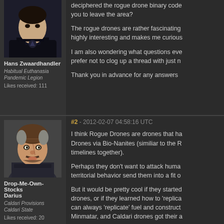[Figure (photo): Avatar of Hans Zwaardhandler, a character in a black suit/outfit]
Hans Zwaardhandler
Habitual Euthanasia Pandemic Legion
Likes received: 111
deciphered the rogue drone binary code... you to leave the area?

The rogue drones are rather fascinating... highly interesting and makes me curious...

I am also wondering what questions eve... prefer not to clog up a thread with just m...

Thank you in advance for any answers...
#2 - 2012-02-07 04:58:16 UTC
[Figure (photo): Avatar of Drop-Me-Own-Stocks Darius, a male character with a beard and mustache]
Drop-Me-Own-Stocks Darius
Caldari Provisions Caldari State
Likes received: 20
I think Rogue Drones are drones that ha... Drones via Bio-Nanites (similiar to the R... timelines together).

Perhaps they don't want to attack huma... territorial behavior send them into a fit o...

But it would be pretty cool if they started... drones, or if they learned how to 'replica... can always 'replicate' fuel and construct... Minmatar, and Caldari drones got their a...